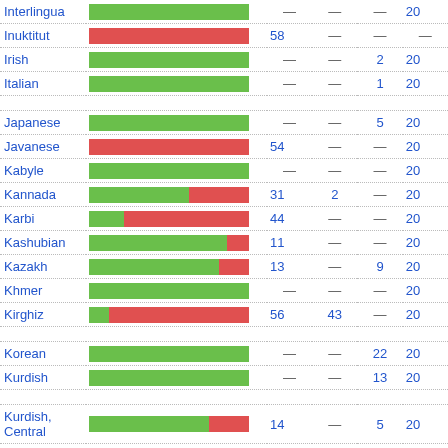| Language | Bar | Val | Col3 | Col4 | Col5 |
| --- | --- | --- | --- | --- | --- |
| Interlingua | bar | — | — | — | 20 |
| Inuktitut | bar-red | 58 | — | — | — |
| Irish | bar | — | — | 2 | 20 |
| Italian | bar | — | — | 1 | 20 |
| Japanese | bar | — | — | 5 | 20 |
| Javanese | bar-red | 54 | — | — | 20 |
| Kabyle | bar | — | — | — | 20 |
| Kannada | bar-mix | 31 | 2 | — | 20 |
| Karbi | bar-mix | 44 | — | — | 20 |
| Kashubian | bar-mix | 11 | — | — | 20 |
| Kazakh | bar-mix | 13 | — | 9 | 20 |
| Khmer | bar | — | — | — | 20 |
| Kirghiz | bar-red | 56 | 43 | — | 20 |
| Korean | bar | — | — | 22 | 20 |
| Kurdish | bar | — | — | 13 | 20 |
| Kurdish, Central | bar-mix | 14 | — | 5 | 20 |